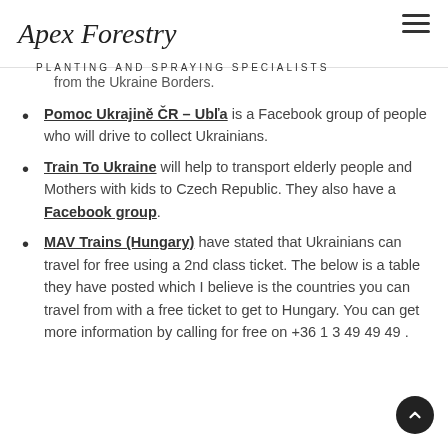Apex Forestry — PLANTING AND SPRAYING SPECIALISTS
from the Ukraine Borders.
Pomoc Ukrajině ČR – Ubľa is a Facebook group of people who will drive to collect Ukrainians.
Train To Ukraine will help to transport elderly people and Mothers with kids to Czech Republic. They also have a Facebook group.
MAV Trains (Hungary) have stated that Ukrainians can travel for free using a 2nd class ticket. The below is a table they have posted which I believe is the countries you can travel from with a free ticket to get to Hungary. You can get more information by calling for free on +36 1 3 49 49 49 .